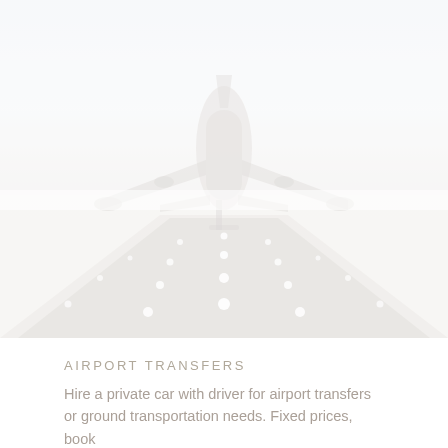[Figure (photo): Faded/washed-out photograph of a commercial airplane taking off or landing on a runway, seen from the front. The image is very light and desaturated, almost white, showing the aircraft above a runway with approach lights visible.]
AIRPORT TRANSFERS
Hire a private car with driver for airport transfers or ground transportation needs. Fixed prices, book